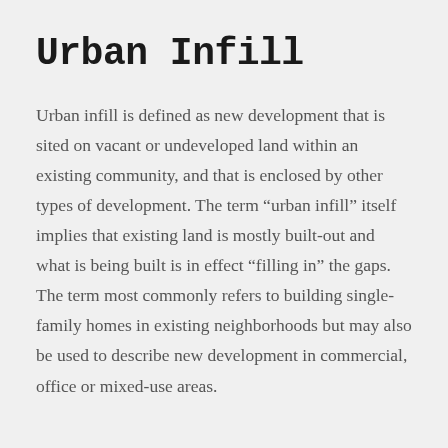Urban Infill
Urban infill is defined as new development that is sited on vacant or undeveloped land within an existing community, and that is enclosed by other types of development. The term “urban infill” itself  implies that existing land is mostly built-out and what is being built is in effect “filling in” the gaps. The term most commonly refers to building single-family homes in existing neighborhoods but may also be used to describe new development in commercial, office or mixed-use areas.